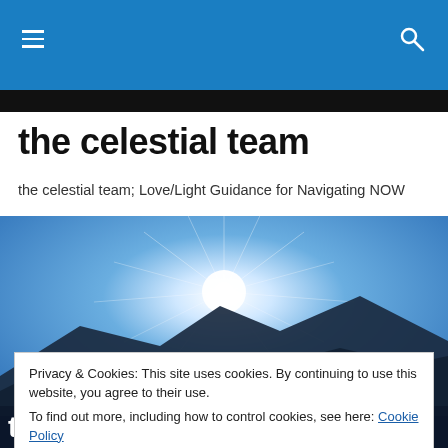the celestial team — navigation bar with hamburger menu and search icon
the celestial team
the celestial team; Love/Light Guidance for Navigating NOW
[Figure (photo): Bright sun rays bursting over dark mountain silhouettes against a blue sky]
Privacy & Cookies: This site uses cookies. By continuing to use this website, you agree to their use.
To find out more, including how to control cookies, see here: Cookie Policy
Close and accept
the Frequency Technicians of